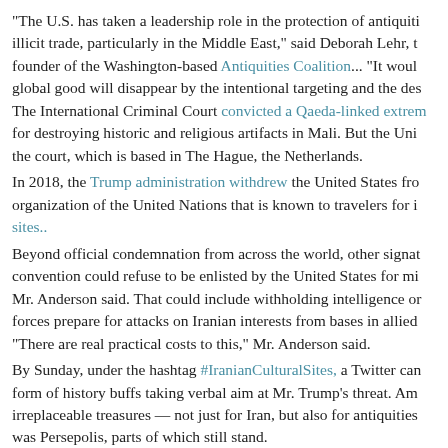"The U.S. has taken a leadership role in the protection of antiquiti illicit trade, particularly in the Middle East," said Deborah Lehr, t founder of the Washington-based Antiquities Coalition... "It woul global good will disappear by the intentional targeting and the des The International Criminal Court convicted a Qaeda-linked extrem for destroying historic and religious artifacts in Mali. But the Uni the court, which is based in The Hague, the Netherlands. In 2018, the Trump administration withdrew the United States fro organization of the United Nations that is known to travelers for i sites.. Beyond official condemnation from across the world, other signat convention could refuse to be enlisted by the United States for mi Mr. Anderson said. That could include withholding intelligence or forces prepare for attacks on Iranian interests from bases in allied "There are real practical costs to this," Mr. Anderson said. By Sunday, under the hashtag #IranianCulturalSites, a Twitter can form of history buffs taking verbal aim at Mr. Trump's threat. Am irreplaceable treasures — not just for Iran, but also for antiquities was Persepolis, parts of which still stand. Its ruins were among the first three Iranian sites to be placed on th Built in 518 B.C.., the city was the capital of the Achaemenid Em